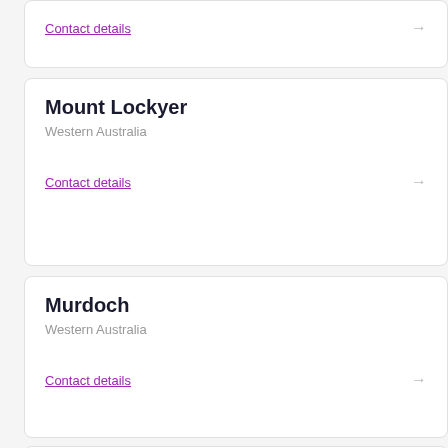Contact details
Mount Lockyer
Western Australia
Contact details
Murdoch
Western Australia
Contact details
Northam